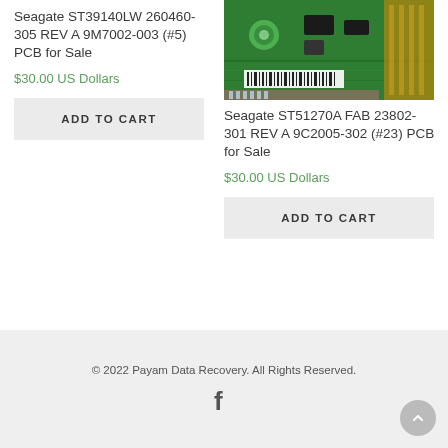Seagate ST39140LW 260460-305 REV A 9M7002-003 (#5) PCB for Sale
$30.00 US Dollars
ADD TO CART
[Figure (photo): Close-up photo of a Seagate hard drive PCB circuit board, green circuit board with connectors visible]
Seagate ST51270A FAB 23802-301 REV A 9C2005-302 (#23) PCB for Sale
$30.00 US Dollars
ADD TO CART
© 2022 Payam Data Recovery. All Rights Reserved.